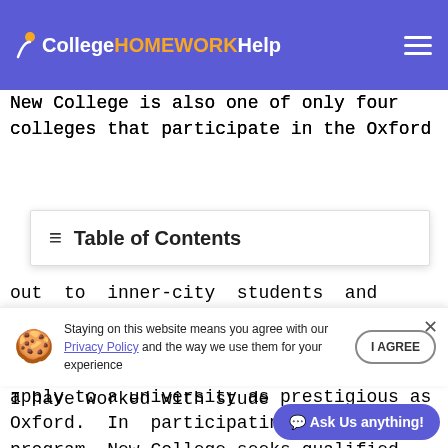CollegeHOMEWORKHelp
New College is also one of only four colleges that participate in the Oxford ... out to inner-city students and encourages them to seek a higher education. This program provides all students with an equal opportunity to apply to a university as prestigious as Oxford. In participating in this program, New College seeks qualified students who may not have the socio- ... become involved in this program because I have worked with stude...
Table of Contents
Staying on this website means you agree with our Privacy Policy and the way we use them for your experience
I AGREE
Ask Us anything!